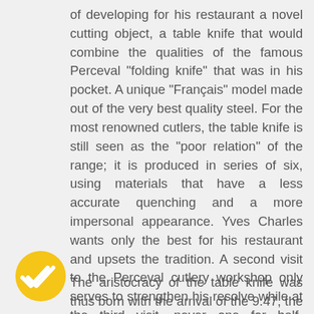of developing for his restaurant a novel cutting object, a table knife that would combine the qualities of the famous Perceval "folding knife" that was in his pocket. A unique "Français" model made out of the very best quality steel. For the most renowned cutlers, the table knife is still seen as the "poor relation" of the range; it is produced in series of six, using materials that have a less accurate quenching and a more impersonal appearance. Yves Charles wants only the best for his restaurant and upsets the tradition. A second visit to the Perceval cutlery workshop only serves to strengthen his resolve while at the third visit, never one for half-measures, the former client takes on the management of operations by purchasing the company founded in 1996 by Eric Perceval.
The aristocracy of the table knife was thus born with the arrival of the 9.47, the folding blades of which are made out of Swedish steel. As soon as the design was up and running, Yves Charles furnished his restaurant tables with model which quickly became popular with diners. For many people, from the mistress of the house to Michelin-